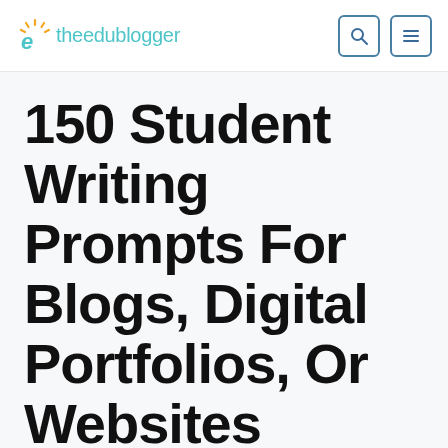e theedublogger
150 Student Writing Prompts For Blogs, Digital Portfolios, Or Websites
By Kathleen Morris
Updated On August 24, 2021   27 Comment